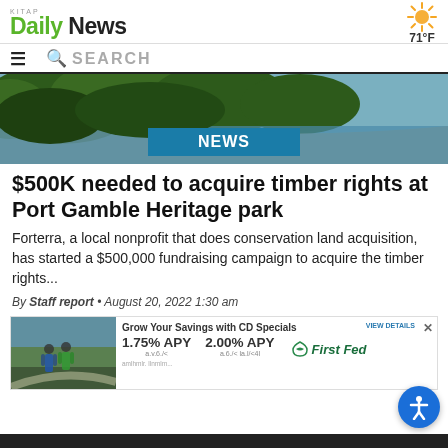KITAP Daily News — 71°F
SEARCH
[Figure (photo): Aerial view of forested shoreline and water, with a teal NEWS badge overlay]
$500K needed to acquire timber rights at Port Gamble Heritage park
Forterra, a local nonprofit that does conservation land acquisition, has started a $500,000 fundraising campaign to acquire the timber rights...
By Staff report • August 20, 2022 1:30 am
[Figure (infographic): Advertisement banner for First Fed Bank CD Specials: 1.75% APY and 2.00% APY rates, with photo of two people walking on a road]